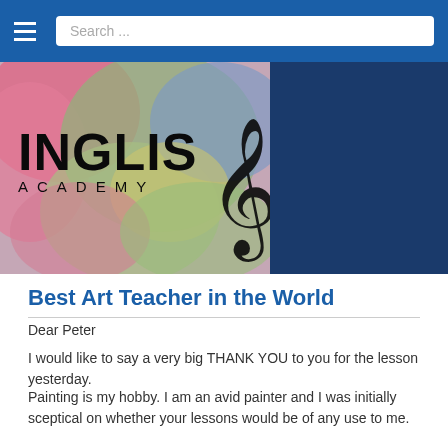Search ...
[Figure (logo): Inglis Academy logo with colorful painted background and treble clef symbol]
Best Art Teacher in the World
Dear Peter
I would like to say a very big THANK YOU to you for the lesson yesterday.
Painting is my hobby. I am an avid painter and I was initially sceptical on whether your lessons would be of any use to me.
However, your teaching method is so unique and I have learnt new techniques in every single class.